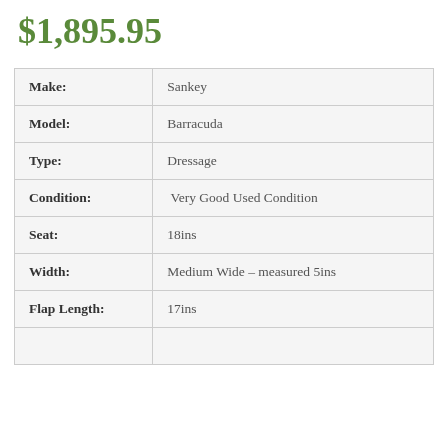$1,895.95
| Field | Value |
| --- | --- |
| Make: | Sankey |
| Model: | Barracuda |
| Type: | Dressage |
| Condition: | Very Good Used Condition |
| Seat: | 18ins |
| Width: | Medium Wide – measured 5ins |
| Flap Length: | 17ins |